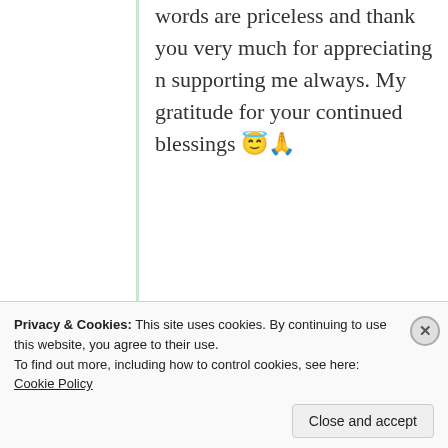words are priceless and thank you very much for appreciating n supporting me always. My gratitude for your continued blessings 😇🙏
★ Like
Log in to Reply
[Figure (screenshot): Nested comment block with avatar image and username 'Jas krish']
Jas krish
Privacy & Cookies: This site uses cookies. By continuing to use this website, you agree to their use. To find out more, including how to control cookies, see here: Cookie Policy
Close and accept